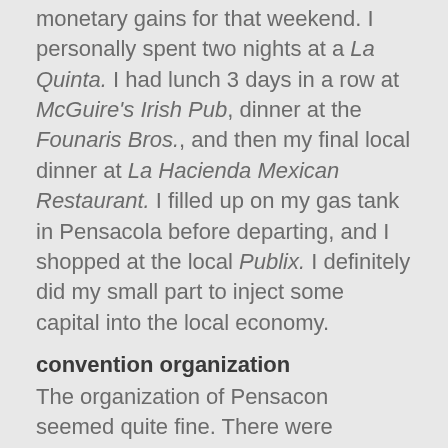monetary gains for that weekend. I personally spent two nights at a La Quinta. I had lunch 3 days in a row at McGuire's Irish Pub, dinner at the Founaris Bros., and then my final local dinner at La Hacienda Mexican Restaurant. I filled up on my gas tank in Pensacola before departing, and I shopped at the local Publix. I definitely did my small part to inject some capital into the local economy.
convention organization
The organization of Pensacon seemed quite fine. There were volunteers and staff-members located at every entrance and every strategic point. A visitor only needed to walk a few feet forward to find a volunteer if one was lost. Every photo ops & panel event ran on time. The only negative aspect I can think of was the parking situation. I do not think the venue and its surrounding areas were big enough to